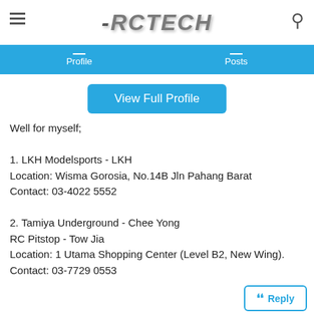RCTECH
Profile   Posts
View Full Profile
Well for myself;

1. LKH Modelsports - LKH
Location: Wisma Gorosia, No.14B Jln Pahang Barat
Contact: 03-4022 5552

2. Tamiya Underground - Chee Yong
RC Pitstop - Tow Jia
Location: 1 Utama Shopping Center (Level B2, New Wing).
Contact: 03-7729 0553
Reply
#55